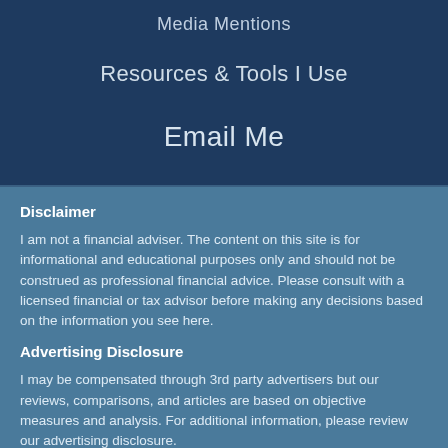Media Mentions
Resources & Tools I Use
Email Me
Disclaimer
I am not a financial adviser. The content on this site is for informational and educational purposes only and should not be construed as professional financial advice. Please consult with a licensed financial or tax advisor before making any decisions based on the information you see here.
Advertising Disclosure
I may be compensated through 3rd party advertisers but our reviews, comparisons, and articles are based on objective measures and analysis. For additional information, please review our advertising disclosure.
Contact Us
Best Wallet Hacks
P.O. Box 323
Fulton, MD 20759